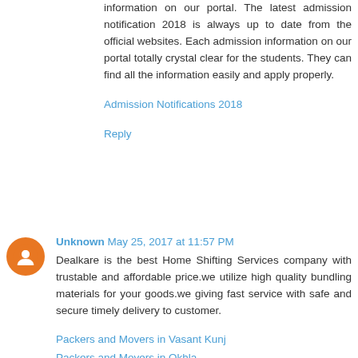information on our portal. The latest admission notification 2018 is always up to date from the official websites. Each admission information on our portal totally crystal clear for the students. They can find all the information easily and apply properly.
Admission Notifications 2018
Reply
Unknown May 25, 2017 at 11:57 PM
Dealkare is the best Home Shifting Services company with trustable and affordable price.we utilize high quality bundling materials for your goods.we giving fast service with safe and secure timely delivery to customer.
Packers and Movers in Vasant Kunj
Packers and Movers in Okhla
Packers and Movers in Palam Vihar
Reply